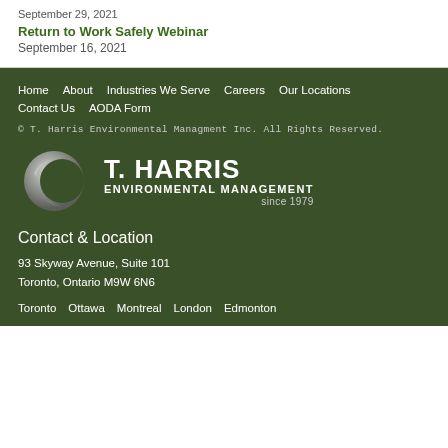Return to Work Safely Webinar
September 16, 2021
Home   About   Industries We Serve   Careers   Our Locations   Contact Us   AODA Form
© T. Harris Environmental Managment Inc. All Rights Reserved.
[Figure (logo): T. Harris Environmental Management logo with crescent moon/leaf graphic and text 'T. HARRIS ENVIRONMENTAL MANAGEMENT since 1979']
Contact & Location
93 Skyway Avenue, Suite 101
Toronto, Ontario M9W 6N6
Toronto   Ottawa   Montreal   London   Edmonton